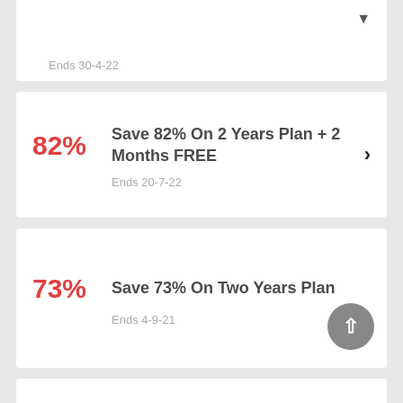Ends 30-4-22
82% Save 82% On 2 Years Plan + 2 Months FREE
Ends 20-7-22
73% Save 73% On Two Years Plan
Ends 4-9-21